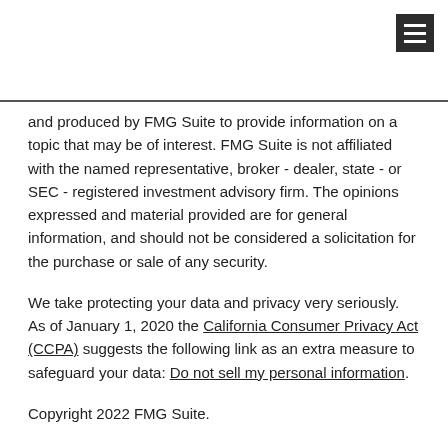and produced by FMG Suite to provide information on a topic that may be of interest. FMG Suite is not affiliated with the named representative, broker - dealer, state - or SEC - registered investment advisory firm. The opinions expressed and material provided are for general information, and should not be considered a solicitation for the purchase or sale of any security.
We take protecting your data and privacy very seriously. As of January 1, 2020 the California Consumer Privacy Act (CCPA) suggests the following link as an extra measure to safeguard your data: Do not sell my personal information.
Copyright 2022 FMG Suite.
Securities offered through Securities America, Inc. Member FINRA/SIPC. Advisory services offered through Securities America Advisors. Fox Financial Services is not affiliated with the Securities America companies.
The third-party comments displayed are not verified, may